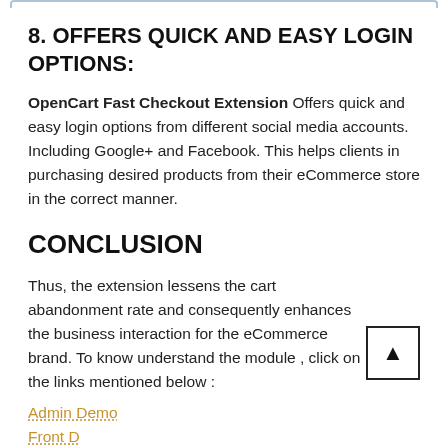8. OFFERS QUICK AND EASY LOGIN OPTIONS:
OpenCart Fast Checkout Extension Offers quick and easy login options from different social media accounts. Including Google+ and Facebook. This helps clients in purchasing desired products from their eCommerce store in the correct manner.
CONCLUSION
Thus, the extension lessens the cart abandonment rate and consequently enhances the business interaction for the eCommerce brand. To know understand the module , click on the links mentioned below :
Admin Demo